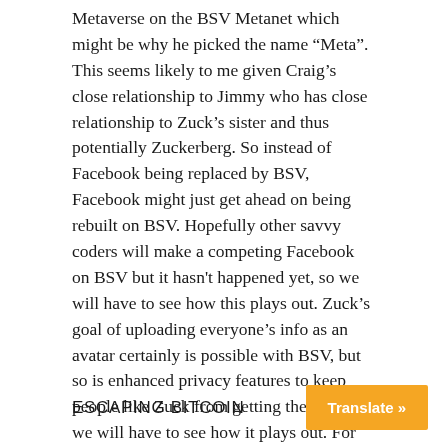Metaverse on the BSV Metanet which might be why he picked the name “Meta”. This seems likely to me given Craig’s close relationship to Jimmy who has close relationship to Zuck’s sister and thus potentially Zuckerberg. So instead of Facebook being replaced by BSV, Facebook might just get ahead on being rebuilt on BSV. Hopefully other savvy coders will make a competing Facebook on BSV but it hasn't happened yet, so we will have to see how this plays out. Zuck’s goal of uploading everyone’s info as an avatar certainly is possible with BSV, but so is enhanced privacy features to keep people like Zuck from getting the data, so we will have to see how it plays out. For now I just want to warn you that we might be looking at Facebook Metaverse on BSV Metanet in which case BSV will go up in value in the future.
ESCAPING BITCOIN